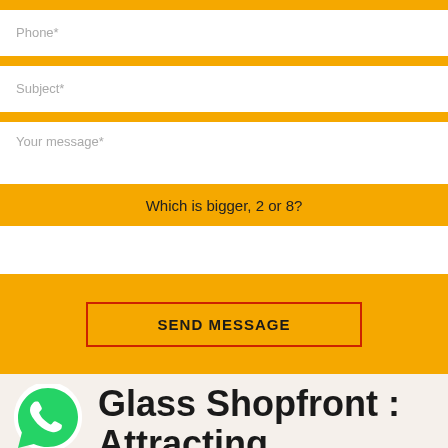[Figure (screenshot): Contact form with Phone, Subject, Your message fields, a CAPTCHA question 'Which is bigger, 2 or 8?', answer input, and a SEND MESSAGE button on orange background]
Glass Shopfront : Attracting Customer By Showcasing What You Have